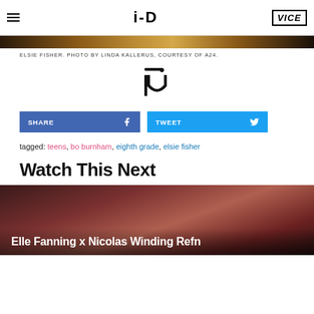i-D / VICE
[Figure (photo): Cropped photo of Elsie Fisher, partial image of a person with blurred background]
ELSIE FISHER. PHOTO BY LINDA KALLERUS, COURTESY OF A24.
[Figure (logo): i-D magazine logo centered on page]
SHARE  TWEET
tagged: teens, bo burnham, eighth grade, elsie fisher
Watch This Next
[Figure (photo): Video thumbnail showing Elle Fanning smiling with brick wall background]
Elle Fanning x Nicolas Winding Refn